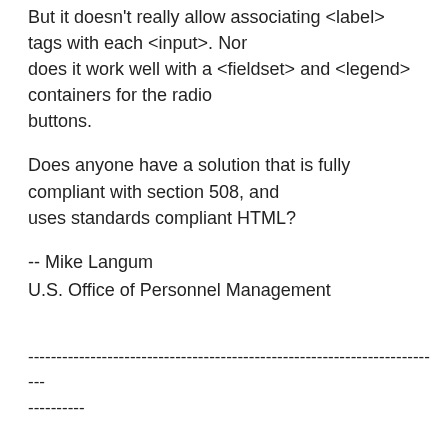But it doesn't really allow associating <label> tags with each <input>. Nor does it work well with a <fieldset> and <legend> containers for the radio buttons.
Does anyone have a solution that is fully compliant with section 508, and uses standards compliant HTML?
-- Mike Langum
U.S. Office of Personnel Management
--------------------------------------------------------------------------
----------